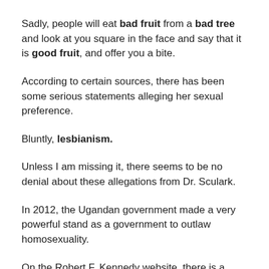Sadly, people will eat bad fruit from a bad tree and look at you square in the face and say that it is good fruit, and offer you a bite.
According to certain sources, there has been some serious statements alleging her sexual preference.
Bluntly, lesbianism.
Unless I am missing it, there seems to be no denial about these allegations from Dr. Sculark.
In 2012, the Ugandan government made a very powerful stand as a government to outlaw homosexuality.
On the Robert F. Kennedy website, there is a letter, signed by 30 pastors that support LGBT’s agenda to urge the Ugandan government to rescind their laws.
One signature that is of note is Sculark who at the time was the pastor of Shiloh Baptist Church in York, PA.